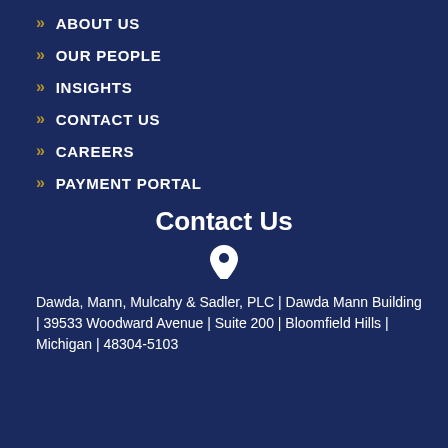ABOUT US
OUR PEOPLE
INSIGHTS
CONTACT US
CAREERS
PAYMENT PORTAL
Contact Us
[Figure (illustration): Location pin / map marker icon]
Dawda, Mann, Mulcahy & Sadler, PLC | Dawda Mann Building | 39533 Woodward Avenue | Suite 200 | Bloomfield Hills | Michigan | 48304-5103